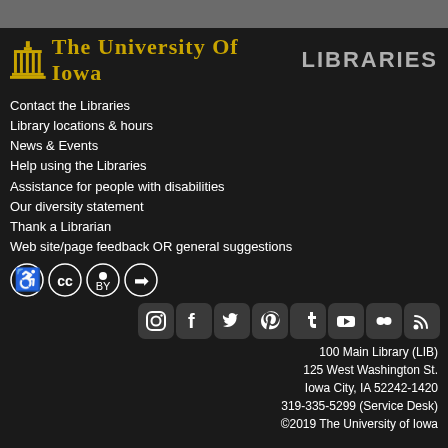[Figure (logo): University of Iowa Libraries logo with gold torch/building icon and text]
Contact the Libraries
Library locations & hours
News & Events
Help using the Libraries
Assistance for people with disabilities
Our diversity statement
Thank a Librarian
Web site/page feedback OR general suggestions
[Figure (logo): Creative Commons and accessibility license icons: accessibility, CC, CC-BY, and arrow/login icons]
[Figure (logo): Social media icons: Instagram, Facebook, Twitter, Pinterest, Tumblr, YouTube, Flickr, RSS]
100 Main Library (LIB)
125 West Washington St.
Iowa City, IA 52242-1420
319-335-5299 (Service Desk)
©2019 The University of Iowa